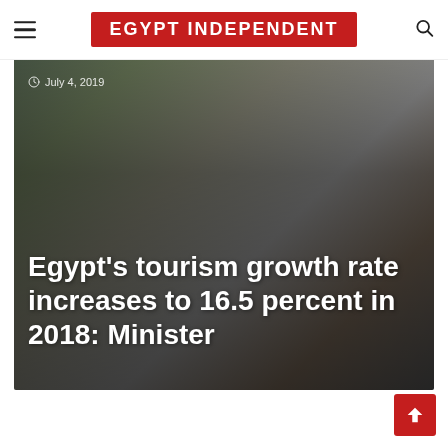EGYPT INDEPENDENT
[Figure (photo): Outdoor photo showing a person walking on a paved area, used as a hero background image for a news article about Egypt tourism growth.]
July 4, 2019
Egypt's tourism growth rate increases to 16.5 percent in 2018: Minister